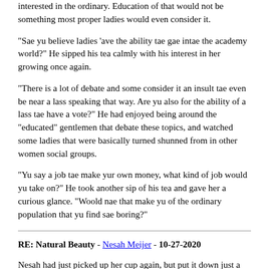interested in the ordinary. Education of that would not be something most proper ladies would even consider it.
"Sae yu believe ladies 'ave the ability tae gae intae the academy world?" He sipped his tea calmly with his interest in her growing once again.
"There is a lot of debate and some consider it an insult tae even be near a lass speaking that way. Are yu also for the ability of a lass tae have a vote?" He had enjoyed being around the "educated" gentlemen that debate these topics, and watched some ladies that were basically turned shunned from in other women social groups.
"Yu say a job tae make yur own money, what kind of job would yu take on?" He took another sip of his tea and gave her a curious glance. "Woold nae that make yu of the ordinary population that yu find sae boring?"
RE: Natural Beauty - Nesah Meijer - 10-27-2020
Nesah had just picked up her cup again, but put it down just a little to loudly. Her fingers remained on the handle, turning pale. She did not take her gaze off the man. His response was perhaps not surprising, but it still made her angry. Was he mocking her?
She finally let go of her cup, and took her serviette off her lap to pat her mouth clean, despite not having finished her meal. "I didn't say I dislike everything ordinary. I just don't see the point in painting it," she said quite sharply. "Anyway, one can do very little, ordinary or extraordinary, without money or the independence that results from it. And so for the